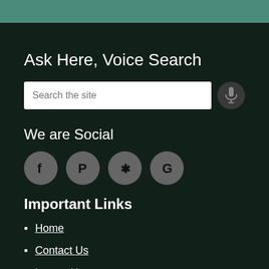Ask Here, Voice Search
Search the site
We are Social
[Figure (other): Social media icons: Facebook, Pinterest, Yelp, Google]
Important Links
Home
Contact Us
Locate Us
What's New